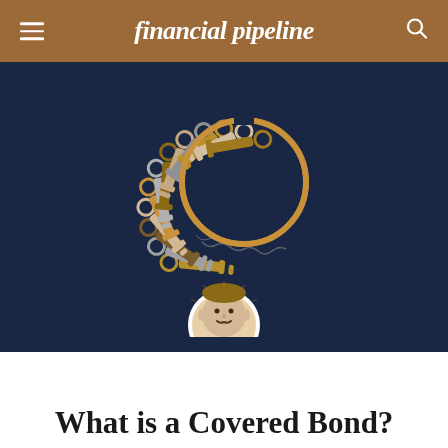financial pipeline
[Figure (illustration): Illustration of a large key ring with many keys of various colors (gold, silver, brown, tan) arranged in a fan/circle pattern on a dark navy blue background. A circular avatar portrait of a mustachioed man appears at the bottom center of the image area.]
What is a Covered Bond?